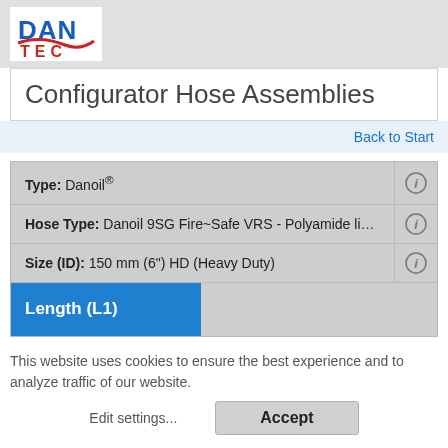[Figure (logo): DAN TEC logo with blue DAN text and red TEC text on white background]
Configurator Hose Assemblies
Back to Start
| Type: Danoil® |  |
| Hose Type: Danoil 9SG Fire~Safe VRS - Polyamide lined fire~s... |  |
| Size (ID): 150 mm (6") HD (Heavy Duty) |  |
| Length (L1) |  |
This website uses cookies to ensure the best experience and to analyze traffic of our website.
Edit settings...
Accept